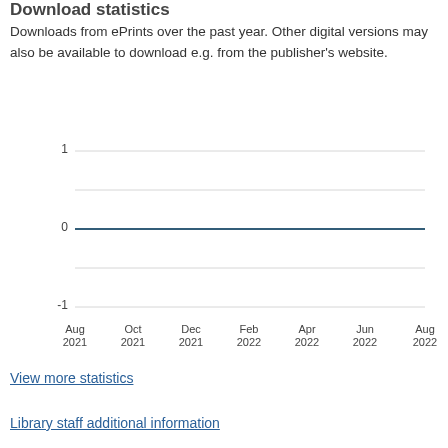Download statistics
Downloads from ePrints over the past year. Other digital versions may also be available to download e.g. from the publisher's website.
[Figure (line-chart): Download statistics]
View more statistics
Library staff additional information